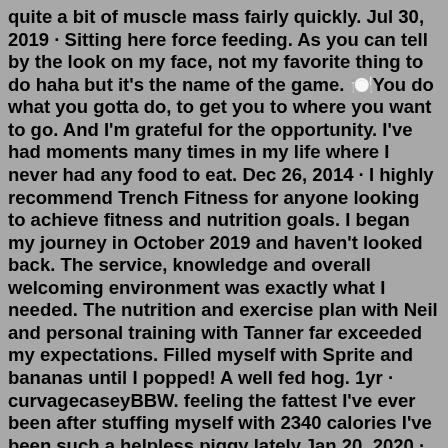quite a bit of muscle mass fairly quickly. Jul 30, 2019 · Sitting here force feeding. As you can tell by the look on my face, not my favorite thing to do haha but it's the name of the game. 🍽️You do what you gotta do, to get you to where you want to go. And I'm grateful for the opportunity. I've had moments many times in my life where I never had any food to eat. Dec 26, 2014 · I highly recommend Trench Fitness for anyone looking to achieve fitness and nutrition goals. I began my journey in October 2019 and haven't looked back. The service, knowledge and overall welcoming environment was exactly what I needed. The nutrition and exercise plan with Neil and personal training with Tanner far exceeded my expectations. Filled myself with Sprite and bananas until I popped! A well fed hog. 1yr · curvagecaseyBBW. feeling the fattest I've ever been after stuffing myself with 2340 calories I've been such a helpless piggy lately.Jan 20, 2020 · The "Don't Stop the Music" hitmaker, who allegedly blew up from 125 pounds to over 200 pounds during their relationship as a form of deliberate ...